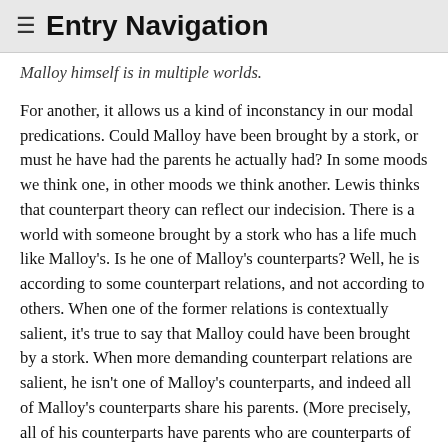≡ Entry Navigation
Malloy himself is in multiple worlds.
For another, it allows us a kind of inconstancy in our modal predications. Could Malloy have been brought by a stork, or must he have had the parents he actually had? In some moods we think one, in other moods we think another. Lewis thinks that counterpart theory can reflect our indecision. There is a world with someone brought by a stork who has a life much like Malloy's. Is he one of Malloy's counterparts? Well, he is according to some counterpart relations, and not according to others. When one of the former relations is contextually salient, it's true to say that Malloy could have been brought by a stork. When more demanding counterpart relations are salient, he isn't one of Malloy's counterparts, and indeed all of Malloy's counterparts share his parents. (More precisely, all of his counterparts have parents who are counterparts of Malloy's actual parents.) In those contexts, it is true to say that one's parentage is essential. Throughout his career, Lewis uses this inconstancy of the counterpart relation to resolve all manner of metaphysical puzzles.